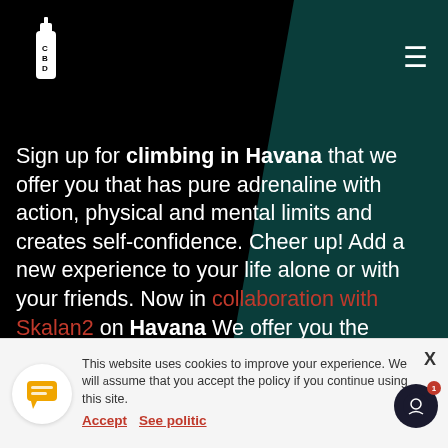[Figure (logo): CBD logo with spray can icon, white on black background]
Sign up for climbing in Havana that we offer you that has pure adrenaline with action, physical and mental limits and creates self-confidence. Cheer up! Add a new experience to your life alone or with your friends. Now in collaboration with Skalan2 on Havana We offer you the opportunity to enjoy rock climbing, in a green area in the middle of the city of Havana.
This website uses cookies to improve your experience. We will assume that you accept the policy if you continue using this site. Accept See politic